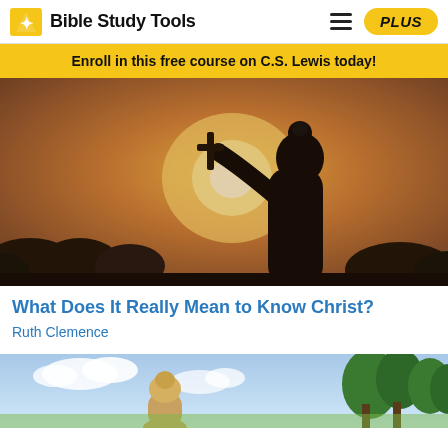Bible Study Tools
Enroll in this free course on C.S. Lewis today!
[Figure (photo): Silhouette of a person holding a cross up toward a golden sunset sky, with dark foliage below]
What Does It Really Mean to Know Christ?
Ruth Clemence
[Figure (photo): Partial view of a person outdoors with trees and blue sky in background]